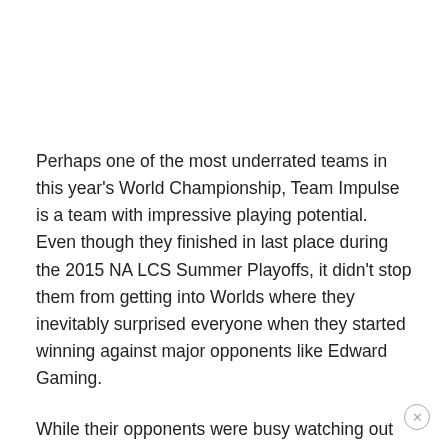Perhaps one of the most underrated teams in this year's World Championship, Team Impulse is a team with impressive playing potential. Even though they finished in last place during the 2015 NA LCS Summer Playoffs, it didn't stop them from getting into Worlds where they inevitably surprised everyone when they started winning against major opponents like Edward Gaming.
While their opponents were busy watching out for Rush, Impact, and Apollo, Pure's hard work was being taken advantage off again and again by his teammates who kept on picking up victories after victories even if their opponents had called several unexpected or simultaneous rotations.